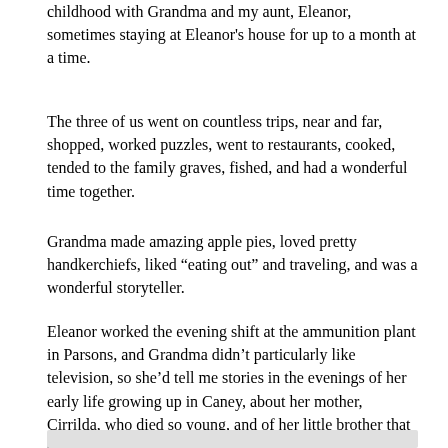childhood with Grandma and my aunt, Eleanor, sometimes staying at Eleanor’s house for up to a month at a time.
The three of us went on countless trips, near and far, shopped, worked puzzles, went to restaurants, cooked, tended to the family graves, fished, and had a wonderful time together.
Grandma made amazing apple pies, loved pretty handkerchiefs, liked “eating out” and traveling, and was a wonderful storyteller.
Eleanor worked the evening shift at the ammunition plant in Parsons, and Grandma didn’t particularly like television, so she’d tell me stories in the evenings of her early life growing up in Caney, about her mother, Cirrilda, who died so young, and of her little brother that she raised, Doyle, who died at the age of 28.